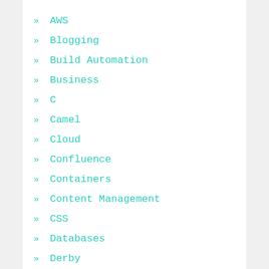» AWS
» Blogging
» Build Automation
» Business
» C
» Camel
» Cloud
» Confluence
» Containers
» Content Management
» CSS
» Databases
» Derby
» Digital Setup
» Docker